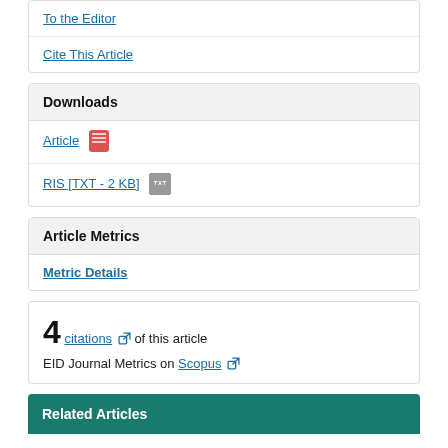To the Editor
Cite This Article
Downloads
Article [PDF icon]
RIS [TXT - 2 KB] [TXT icon]
Article Metrics
Metric Details
4 citations of this article
EID Journal Metrics on Scopus
Related Articles